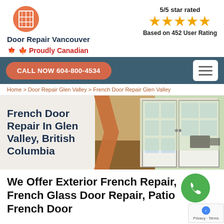[Figure (logo): Door Repair Vancouver logo with orange circular grid icon]
Door Repair Vancouver
🍁 Proudly Canadian
5/5 star rated
★★★★★
Based on 452 User Rating
CALL NOW 604-800-4534
Home > Door Repair Glen Valley > French Door Repair Glen Valley
[Figure (photo): Photo of open white French doors leading to a patio with outdoor furniture and greenery]
French Door Repair In Glen Valley, British Columbia
We Offer Exterior French Repair, French Glass Door Repair, Patio French Door